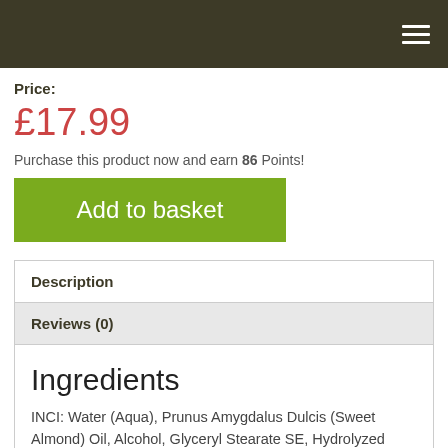Price:
£17.99
Purchase this product now and earn 86 Points!
Add to basket
Description
Reviews (0)
Ingredients
INCI: Water (Aqua), Prunus Amygdalus Dulcis (Sweet Almond) Oil, Alcohol, Glyceryl Stearate SE, Hydrolyzed Beeswax, Prunus Domestica Seed Oil, Glycerin, Xanthan Gum, Lactic Acid